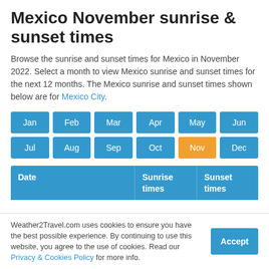Mexico November sunrise & sunset times
Browse the sunrise and sunset times for Mexico in November 2022. Select a month to view Mexico sunrise and sunset times for the next 12 months. The Mexico sunrise and sunset times shown below are for Mexico City.
| Date | Sunrise times | Sunset times |
| --- | --- | --- |
Weather2Travel.com uses cookies to ensure you have the best possible experience. By continuing to use this website, you agree to the use of cookies. Read our Privacy & Cookies Policy for more info.